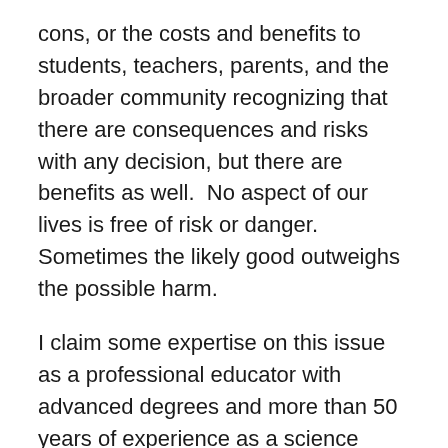cons, or the costs and benefits to students, teachers, parents, and the broader community recognizing that there are consequences and risks with any decision, but there are benefits as well.  No aspect of our lives is free of risk or danger.  Sometimes the likely good outweighs the possible harm.
I claim some expertise on this issue as a professional educator with advanced degrees and more than 50 years of experience as a science educator, academic administrator, and college president.  I also claim some insight through my marriage to a talented elementary school teacher with more than 40 years of experience in both private and public education.  I also claim some empathy as a parent whose children excelled in public school, college, and post graduate education and training.  Nothing about my opinion relates to partisan politics.  I